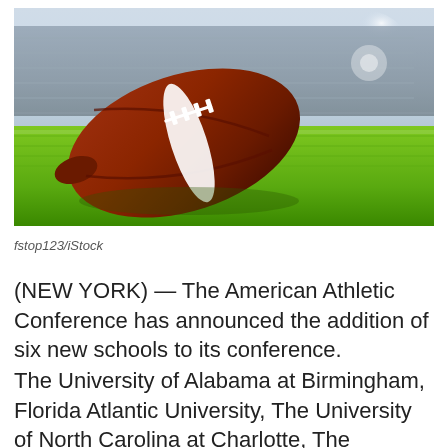[Figure (photo): Close-up photo of an American football resting on bright green grass, with blurred stadium seating in the background. The ball is brown with white laces and a white stripe.]
fstop123/iStock
(NEW YORK) — The American Athletic Conference has announced the addition of six new schools to its conference.
The University of Alabama at Birmingham, Florida Atlantic University, The University of North Carolina at Charlotte, The University of North Texas, Rice University, and the